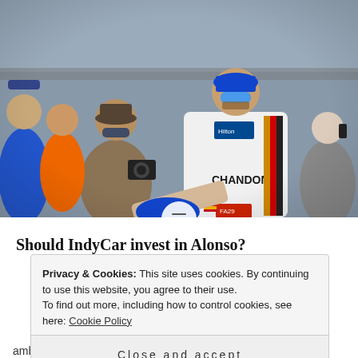[Figure (photo): A racing driver wearing a white McLaren-Honda suit with CHANDON branding and FA29 number, signing autographs for fans at what appears to be the Indianapolis Motor Speedway. A photographer with a camera is visible nearby.]
Should IndyCar invest in Alonso?
Privacy & Cookies: This site uses cookies. By continuing to use this website, you agree to their use.
To find out more, including how to control cookies, see here: Cookie Policy
Close and accept
ambitions remaining completely unfulfilled by the team